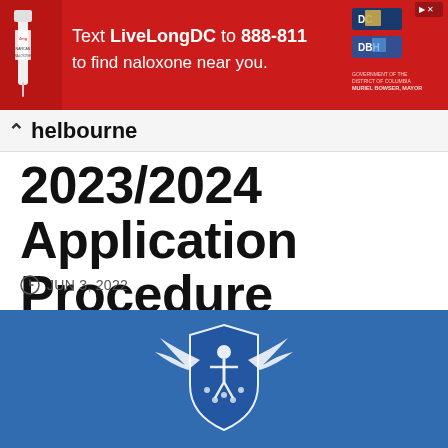[Figure (infographic): Red advertisement banner: 'Text LiveLongDC to 888-811 to find naloxone near you.' with DC and DBH logos, syringe image on left, close button top right.]
melbourne 2023/2024 Application Procedure
2023/2024 Application Procedure
JUN 3, 2022
[Figure (photo): Blue background with a white angel/hermes winged figure shield logo — appears to be a Melbourne university or institution emblem.]